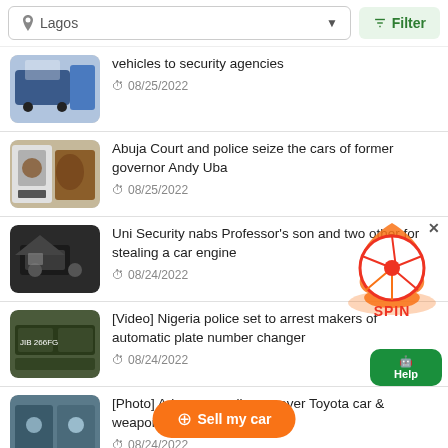Lagos | Filter
vehicles to security agencies — 08/25/2022
Abuja Court and police seize the cars of former governor Andy Uba — 08/25/2022
Uni Security nabs Professor's son and two other for stealing a car engine — 08/24/2022
[Video] Nigeria police set to arrest makers of automatic plate number changer — 08/24/2022
[Photo] Adamawa police recover Toyota car & weapons and suspects